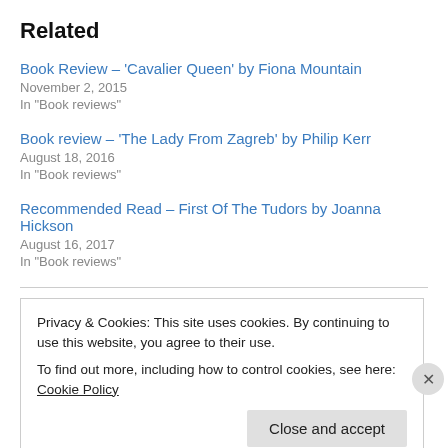Related
Book Review – 'Cavalier Queen' by Fiona Mountain
November 2, 2015
In "Book reviews"
Book review – 'The Lady From Zagreb' by Philip Kerr
August 18, 2016
In "Book reviews"
Recommended Read – First Of The Tudors by Joanna Hickson
August 16, 2017
In "Book reviews"
Privacy & Cookies: This site uses cookies. By continuing to use this website, you agree to their use.
To find out more, including how to control cookies, see here: Cookie Policy
Close and accept